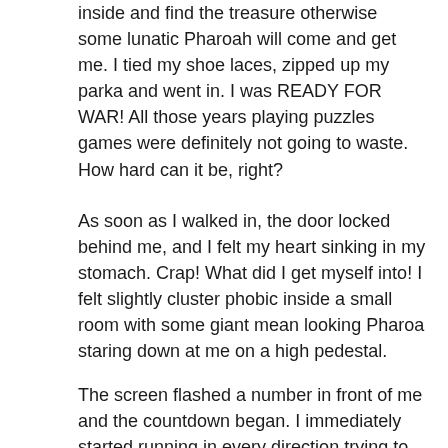inside and find the treasure otherwise some lunatic Pharoah will come and get me. I tied my shoe laces, zipped up my parka and went in. I was READY FOR WAR! All those years playing puzzles games were definitely not going to waste. How hard can it be, right?
As soon as I walked in, the door locked behind me, and I felt my heart sinking in my stomach. Crap! What did I get myself into! I felt slightly cluster phobic inside a small room with some giant mean looking Pharoa staring down at me on a high pedestal.
The screen flashed a number in front of me and the countdown began. I immediately started running in every direction trying to find every item